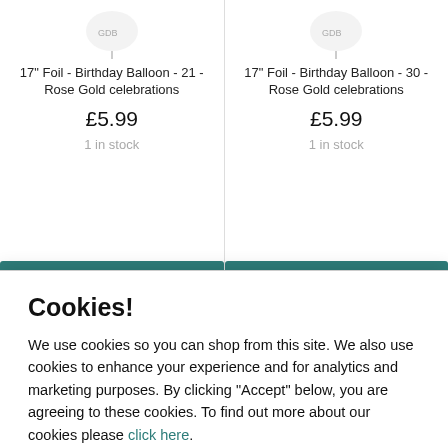17" Foil - Birthday Balloon - 21 - Rose Gold celebrations
£5.99
1 in stock
17" Foil - Birthday Balloon - 30 - Rose Gold celebrations
£5.99
1 in stock
Cookies!
We use cookies so you can shop from this site. We also use cookies to enhance your experience and for analytics and marketing purposes. By clicking "Accept" below, you are agreeing to these cookies. To find out more about our cookies please click here.
Accept
Decline